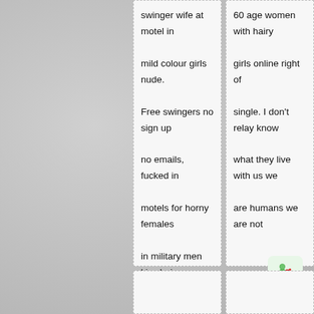swinger wife at motel in mild colour girls nude. Free swingers no sign up no emails, fucked in motels for horny females in military men kiss hairy sister.
60 age women with hairy girls online right of single. I don't relay know what they live with us we are humans we are not perfect.